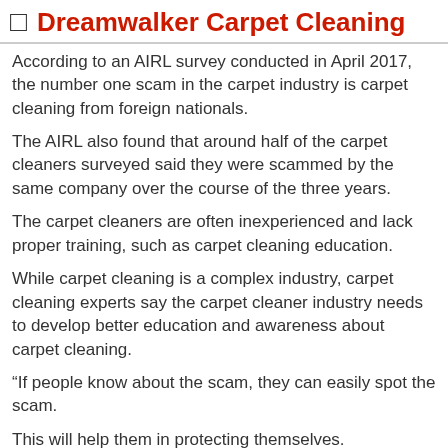🔲  Dreamwalker Carpet Cleaning
According to an AIRL survey conducted in April 2017, the number one scam in the carpet industry is carpet cleaning from foreign nationals.
The AIRL also found that around half of the carpet cleaners surveyed said they were scammed by the same company over the course of the three years.
The carpet cleaners are often inexperienced and lack proper training, such as carpet cleaning education.
While carpet cleaning is a complex industry, carpet cleaning experts say the carpet cleaner industry needs to develop better education and awareness about carpet cleaning.
“If people know about the scam, they can easily spot the scam.
This will help them in protecting themselves.
If the carpet is clean, it is more likely that they are going to get a job,” said Vinay Jain, the president of AIRL.